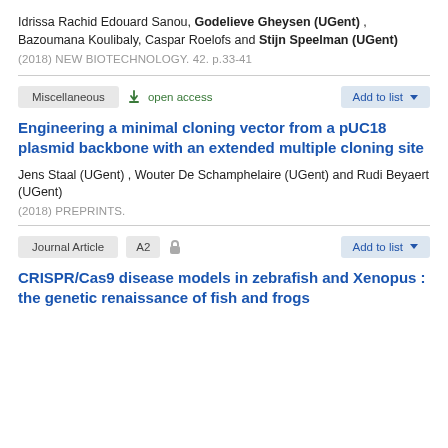Idrissa Rachid Edouard Sanou, Godelieve Gheysen (UGent) , Bazoumana Koulibaly, Caspar Roelofs and Stijn Speelman (UGent)
(2018) NEW BIOTECHNOLOGY. 42. p.33-41
Miscellaneous   open access   Add to list
Engineering a minimal cloning vector from a pUC18 plasmid backbone with an extended multiple cloning site
Jens Staal (UGent) , Wouter De Schamphelaire (UGent) and Rudi Beyaert (UGent)
(2018) PREPRINTS.
Journal Article   A2   Add to list
CRISPR/Cas9 disease models in zebrafish and Xenopus : the genetic renaissance of fish and frogs